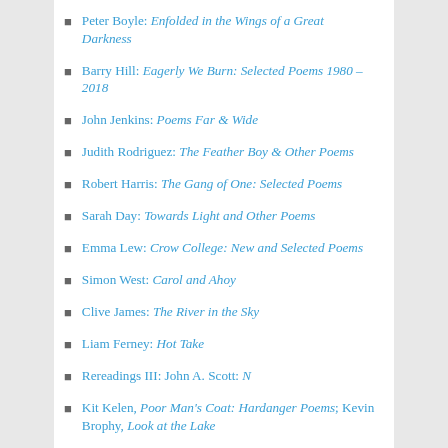Peter Boyle: Enfolded in the Wings of a Great Darkness
Barry Hill: Eagerly We Burn: Selected Poems 1980 – 2018
John Jenkins: Poems Far & Wide
Judith Rodriguez: The Feather Boy & Other Poems
Robert Harris: The Gang of One: Selected Poems
Sarah Day: Towards Light and Other Poems
Emma Lew: Crow College: New and Selected Poems
Simon West: Carol and Ahoy
Clive James: The River in the Sky
Liam Ferney: Hot Take
Rereadings III: John A. Scott: N
Kit Kelen, Poor Man's Coat: Hardanger Poems; Kevin Brophy, Look at the Lake